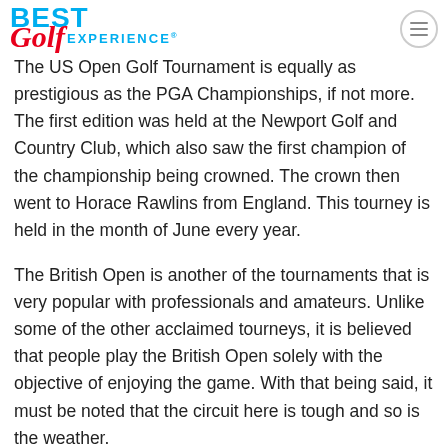Best Golf Experience
The US Open Golf Tournament is equally as prestigious as the PGA Championships, if not more. The first edition was held at the Newport Golf and Country Club, which also saw the first champion of the championship being crowned. The crown then went to Horace Rawlins from England. This tourney is held in the month of June every year.
The British Open is another of the tournaments that is very popular with professionals and amateurs. Unlike some of the other acclaimed tourneys, it is believed that people play the British Open solely with the objective of enjoying the game. With that being said, it must be noted that the circuit here is tough and so is the weather.